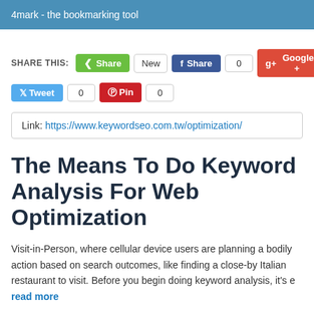4mark - the bookmarking tool
SHARE THIS: [Share] [New] [f Share] [0] [g+ Google +] [0] [Tweet] [0] [Pin] [0]
Link: https://www.keywordseo.com.tw/optimization/
The Means To Do Keyword Analysis For Web Optimization
Visit-in-Person, where cellular device users are planning a bodily action based on search outcomes, like finding a close-by Italian restaurant to visit. Before you begin doing keyword analysis, it's e
read more